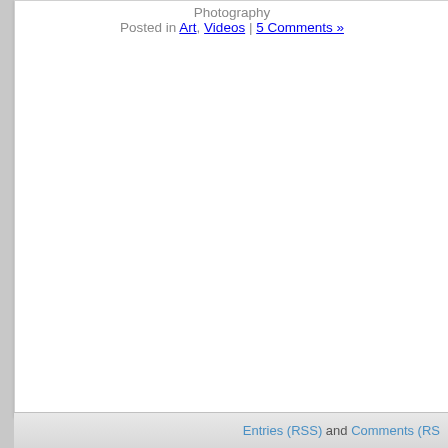Photography Posted in Art, Videos | 5 Comments »
Entries (RSS) and Comments (RSS